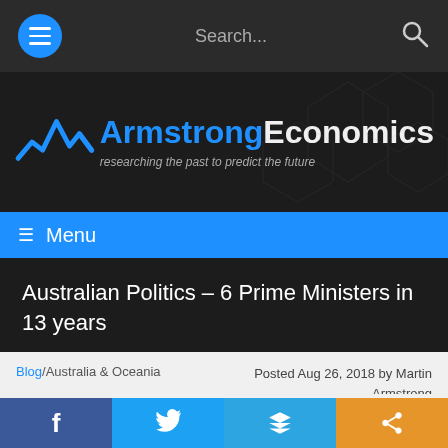Armstrong Economics – Menu / Search
[Figure (logo): Armstrong Economics logo with blue zigzag line chart icon and site name with tagline 'researching the past to predict the future']
≡ Menu
Australian Politics – 6 Prime Ministers in 13 years
Blog/Australia & Oceania   Posted Aug 26, 2018 by Martin Armstrong
Spread the love